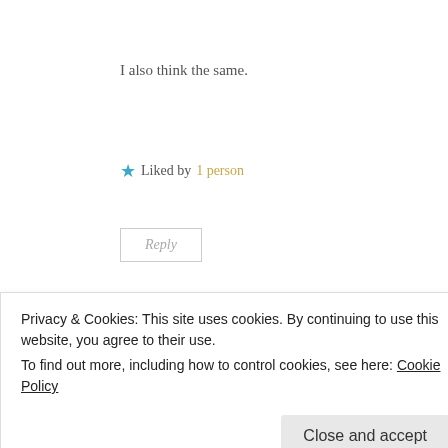I also think the same.
★ Liked by 1 person
Reply
[Figure (photo): Circular avatar photo of Indrajit RoyChoudhury, a man in a white shirt against a dark background]
Indrajit RoyChoudhury
Privacy & Cookies: This site uses cookies. By continuing to use this website, you agree to their use.
To find out more, including how to control cookies, see here: Cookie Policy
Close and accept
vedic period, gods were divided into two classes the